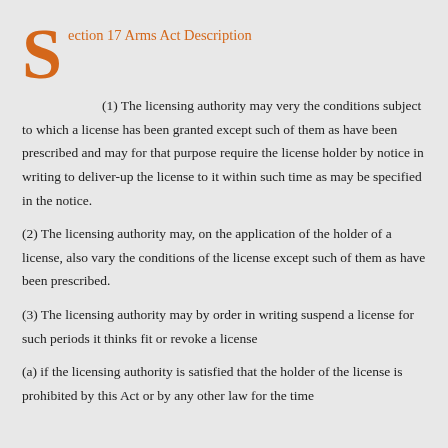Section 17 Arms Act Description
(1) The licensing authority may very the conditions subject to which a license has been granted except such of them as have been prescribed and may for that purpose require the license holder by notice in writing to deliver-up the license to it within such time as may be specified in the notice.
(2) The licensing authority may, on the application of the holder of a license, also vary the conditions of the license except such of them as have been prescribed.
(3) The licensing authority may by order in writing suspend a license for such periods it thinks fit or revoke a license
(a) if the licensing authority is satisfied that the holder of the license is prohibited by this Act or by any other law for the time